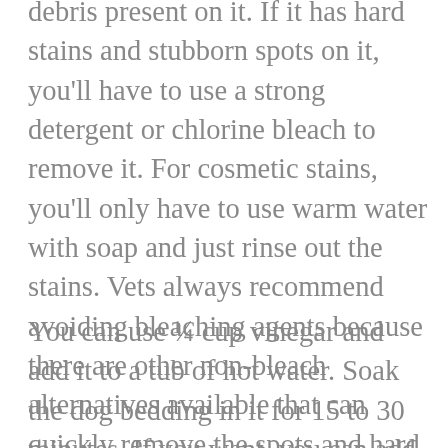debris present on it. If it has hard stains and stubborn spots on it, you'll have to use a strong detergent or chlorine bleach to remove it. For cosmetic stains, you'll only have to use warm water with soap and just rinse out the stains. Vets always recommend avoiding bleaching agents because there are other non-bleach alternatives available that can quickly remove the spots and hard stains. The stubborn areas and spots can also be treated by a homemade all-purpose cleaner such as vinegar solution, lemon juice, and baking soda.
You can use ¼ cup vinegar and add it to a tub of hot water. Soak the dog bedding in it for 15 to 30 minutes. If you want, you can add a mild detergent to this mixture too. If you feel that the stains are hard and stubborn enough, you can add ½ cup vinegar to the